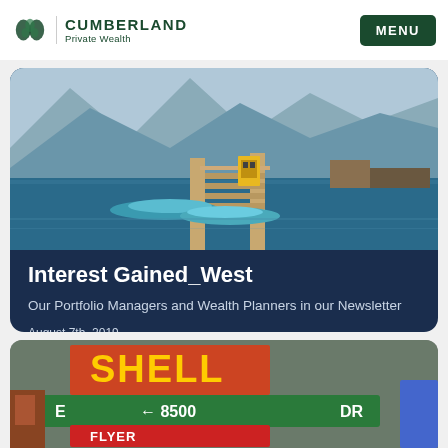CUMBERLAND Private Wealth
[Figure (photo): Dock with kayaks on a blue mountain lake, with a yellow vending machine on the dock]
Interest Gained_West
Our Portfolio Managers and Wealth Planners in our Newsletter
August 7th, 2019
Read time: 1 minute
Read More
[Figure (photo): Street signs including a green directional sign showing 8500 DR, with a Shell sign in background]